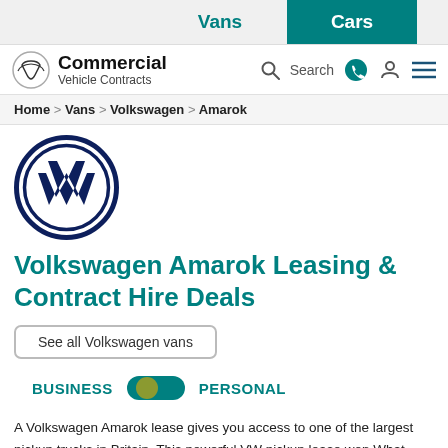Vans | Cars
Commercial Vehicle Contracts | Search
Home > Vans > Volkswagen > Amarok
[Figure (logo): Volkswagen VW circular logo in dark navy blue]
Volkswagen Amarok Leasing & Contract Hire Deals
See all Volkswagen vans
BUSINESS   PERSONAL
A Volkswagen Amarok lease gives you access to one of the largest pickup trucks in Britain. This powerful VW pickup lease won What Car?